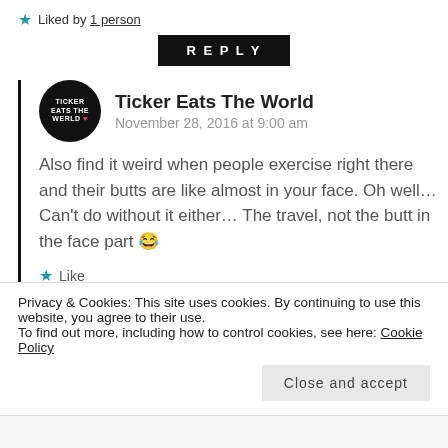★ Liked by 1 person
REPLY
Ticker Eats The World
November 28, 2016 at 9:00 am
Also find it weird when people exercise right there and their butts are like almost in your face. Oh well… Can't do without it either… The travel, not the butt in the face part 😂
★ Like
REPLY
Privacy & Cookies: This site uses cookies. By continuing to use this website, you agree to their use.
To find out more, including how to control cookies, see here: Cookie Policy
Close and accept